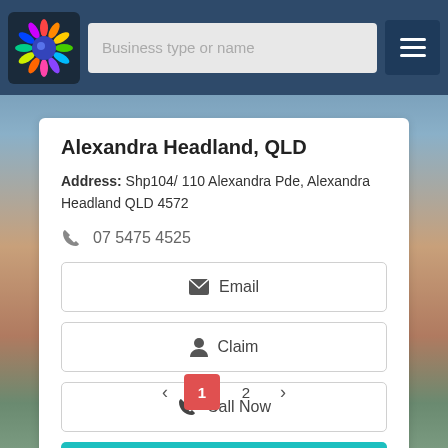[Figure (screenshot): Website navigation bar with colorful logo, search field 'Business type or name', and hamburger menu icon on dark blue background]
Alexandra Headland, QLD
Address: Shp104/ 110 Alexandra Pde, Alexandra Headland QLD 4572
07 5475 4525
Email
Claim
Call Now
View Details
1  2